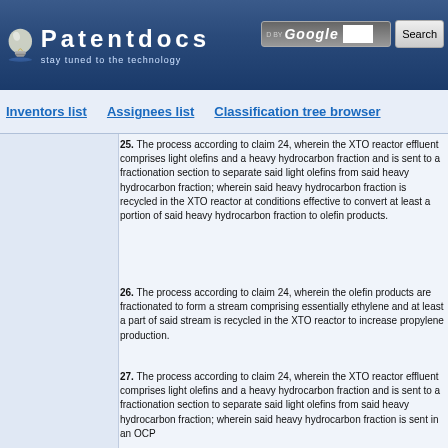[Figure (logo): Patentdocs website header with light bulb logo, brand name 'Patentdocs', tagline 'stay tuned to the technology', and Google search box with Search button]
Inventors list    Assignees list    Classification tree browser
25. The process according to claim 24, wherein the XTO reactor effluent comprises light olefins and a heavy hydrocarbon fraction and is sent to a fractionation section to separate said light olefins from said heavy hydrocarbon fraction; wherein said heavy hydrocarbon fraction is recycled in the XTO reactor at conditions effective to convert at least a portion of said heavy hydrocarbon fraction to olefin products.
26. The process according to claim 24, wherein the olefin products are fractionated to form a stream comprising essentially ethylene and at least a part of said stream is recycled in the XTO reactor to increase propylene production.
27. The process according to claim 24, wherein the XTO reactor effluent comprises light olefins and a heavy hydrocarbon fraction and is sent to a fractionation section to separate said light olefins from said heavy hydrocarbon fraction; wherein said heavy hydrocarbon fraction is sent in an OCP reactor at conditions effective to convert at least a